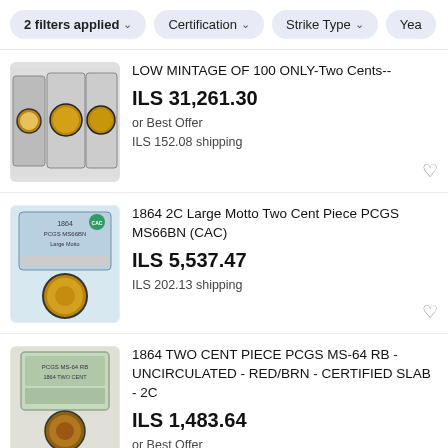2 filters applied  Certification  Strike Type  Yea
LOW MINTAGE OF 100 ONLY-Two Cents--
ILS 31,261.30
or Best Offer
ILS 152.08 shipping
1864 2C Large Motto Two Cent Piece PCGS MS66BN (CAC)
ILS 5,537.47
ILS 202.13 shipping
1864 TWO CENT PIECE PCGS MS-64 RB - UNCIRCULATED - RED/BRN - CERTIFIED SLAB - 2C
ILS 1,483.64
or Best Offer
ILS 140.69 shipping